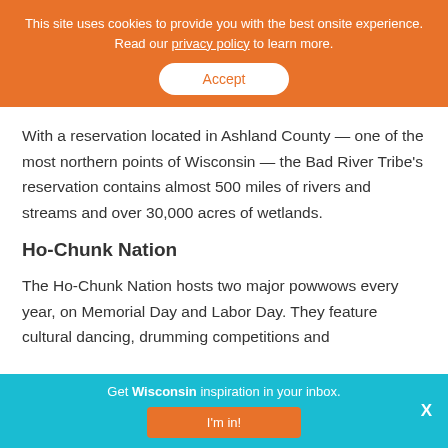This site uses cookies to provide you with the best onsite experience. Read our privacy policy to learn more. Accept
With a reservation located in Ashland County — one of the most northern points of Wisconsin — the Bad River Tribe's reservation contains almost 500 miles of rivers and streams and over 30,000 acres of wetlands.
Ho-Chunk Nation
The Ho-Chunk Nation hosts two major powwows every year, on Memorial Day and Labor Day. They feature cultural dancing, drumming competitions and
Get Wisconsin inspiration in your inbox. I'm in! X